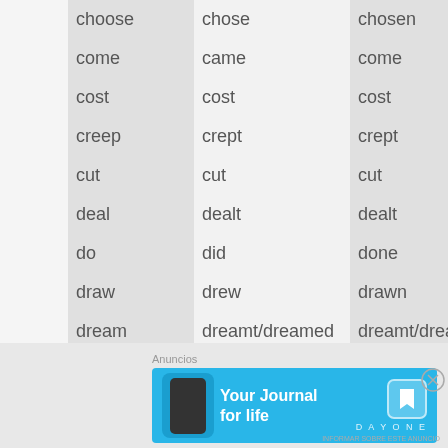| Base form | Past simple | Past participle |  |
| --- | --- | --- | --- |
| choose | chose | chosen | e |
| come | came | come | w |
| cost | cost | cost | c |
| creep | crept | crept | a |
| cut | cut | cut | c |
| deal | dealt | dealt | d |
| do | did | done | h |
| draw | drew | drawn | c |
| dream | dreamt/dreamed | dreamt/dreamed | s |
| drink | drank | drunk | b |
| drive | drove | driven |  |
Anuncios
[Figure (screenshot): Advertisement banner for Day One 'Your Journal for life' app with blue background, phone graphic on left, app icon on right.]